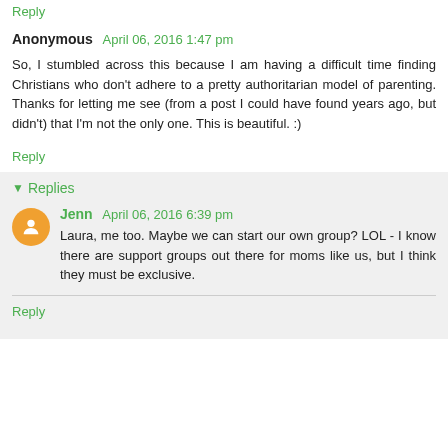Reply
Anonymous  April 06, 2016 1:47 pm
So, I stumbled across this because I am having a difficult time finding Christians who don't adhere to a pretty authoritarian model of parenting. Thanks for letting me see (from a post I could have found years ago, but didn't) that I'm not the only one. This is beautiful. :)
Reply
Replies
Jenn  April 06, 2016 6:39 pm
Laura, me too. Maybe we can start our own group? LOL - I know there are support groups out there for moms like us, but I think they must be exclusive.
Reply